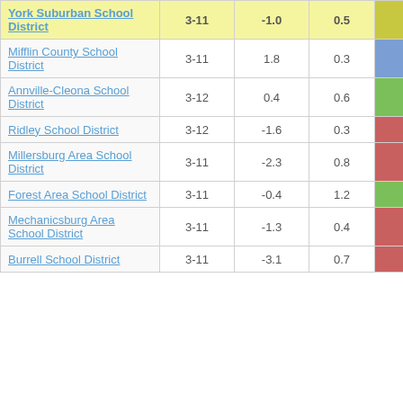| District | Grades | Change | StdErr | Score |
| --- | --- | --- | --- | --- |
| York Suburban School District | 3-11 | -1.0 | 0.5 | -2.00 |
| Mifflin County School District | 3-11 | 1.8 | 0.3 | 5.33 |
| Annville-Cleona School District | 3-12 | 0.4 | 0.6 | 0.68 |
| Ridley School District | 3-12 | -1.6 | 0.3 | -4.52 |
| Millersburg Area School District | 3-11 | -2.3 | 0.8 | -2.81 |
| Forest Area School District | 3-11 | -0.4 | 1.2 | -0.32 |
| Mechanicsburg Area School District | 3-11 | -1.3 | 0.4 | -3.51 |
| Burrell School District | 3-11 | -3.1 | 0.7 | -4.49 |